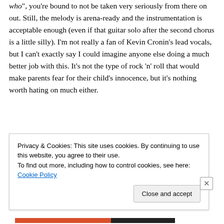who", you're bound to not be taken very seriously from there on out. Still, the melody is arena-ready and the instrumentation is acceptable enough (even if that guitar solo after the second chorus is a little silly). I'm not really a fan of Kevin Cronin's lead vocals, but I can't exactly say I could imagine anyone else doing a much better job with this. It's not the type of rock 'n' roll that would make parents fear for their child's innocence, but it's nothing worth hating on much either.
31. “Elvira” – The Oak Ridge Boys: Wowww, this song got annoying so quickly. That marching beat and the fu...
Privacy & Cookies: This site uses cookies. By continuing to use this website, you agree to their use.
To find out more, including how to control cookies, see here: Cookie Policy
Close and accept